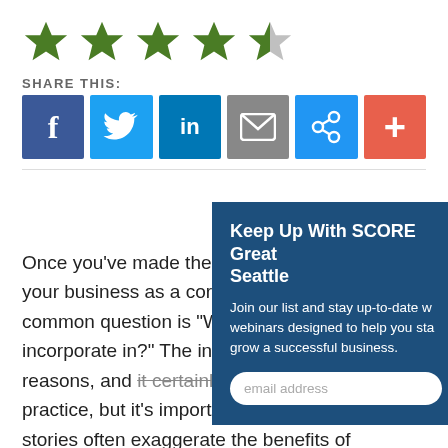[Figure (other): Five-star rating display showing 4.5 stars: four filled green stars and one half-filled star]
SHARE THIS:
[Figure (other): Social share buttons: Facebook (blue), Twitter (light blue), LinkedIn (dark blue), Email (gray), Link (blue), Plus/More (orange-red)]
Once you've made the decision to organize your business as a corporation or LLC, a common question is "Which state should I incorporate in?" There are some benefits to incorporating in different states for other reasons, and it certainly isn't an unheard-of practice, but it's important to realize that these stories often exaggerate the benefits of incorporating in other states.
Keep Up With SCORE Greater Seattle
Join our list and stay up-to-date with webinars designed to help you start and grow a successful business.
email address